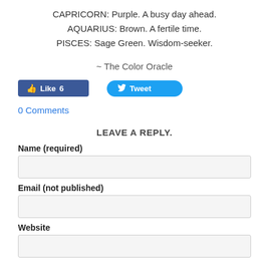CAPRICORN: Purple. A busy day ahead.
AQUARIUS: Brown. A fertile time.
PISCES: Sage Green. Wisdom-seeker.
~ The Color Oracle
[Figure (other): Facebook Like button showing count 6 and Twitter Tweet button]
0 Comments
LEAVE A REPLY.
Name (required)
Email (not published)
Website